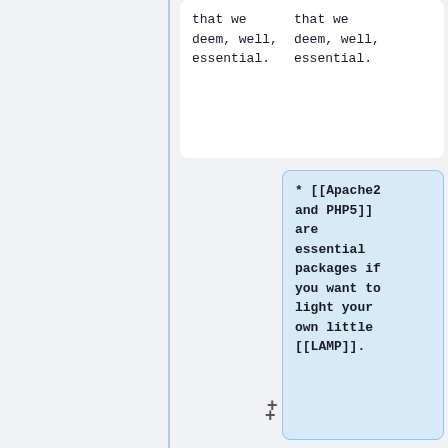that we deem, well, essential.
that we deem, well, essential.
* [[Apache2 and PHP5]] are essential packages if you want to light your own little [[LAMP]].
* [[Pluggable Authentication Modules (PAM)]] is a great way to secure your server
* [[Pluggable Authentication Modules (PAM)]] is a great way to secure your server